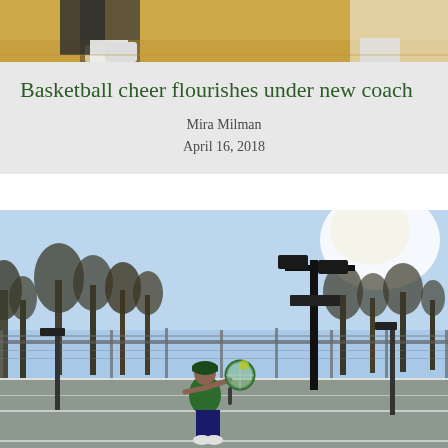[Figure (photo): Top portion of a basketball photo showing players on a court with yellow flooring]
Basketball cheer flourishes under new coach
Mira Milman
April 16, 2018
[Figure (photo): A tennis player in green shirt hitting a ball on an outdoor court with lights and bare trees in the background under a bright sky]